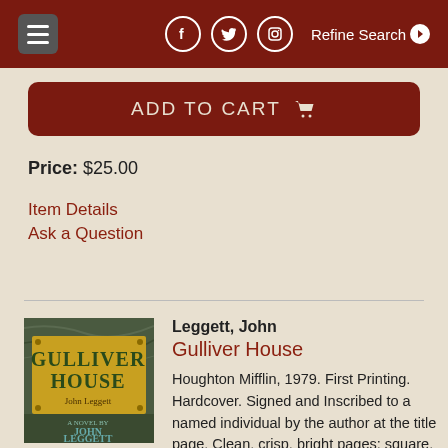Menu | Facebook | Twitter | Instagram | Refine Search
ADD TO CART
Price: $25.00
Item Details
Ask a Question
Leggett, John
Gulliver House
Houghton Mifflin, 1979. First Printing. Hardcover. Signed and Inscribed to a named individual by the author at the title page. Clean, crisp, bright pages; square, tight binding; jacket bears chipping at the corners and spine ends, a small tear and several short creases at the top, rear, and modest fading. More